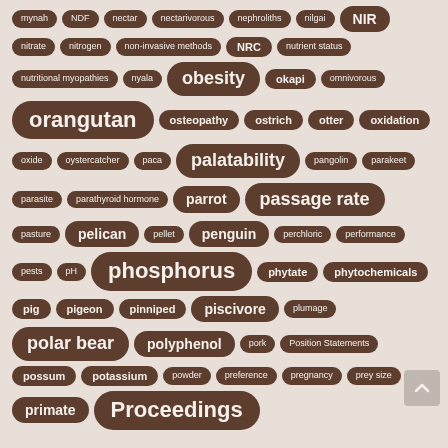[Figure (infographic): Tag cloud of animal nutrition and zoology keywords in rounded pill-shaped tags on a beige background. Tags vary in font size indicating frequency/importance. Tags include: mynah, NDF, nectar, nectarivorous, nephroliths, nilgai, NIR, nitrate, nitrogen, non-invasive methods, NRC, nutrient status, nutritional myopathies, nyala, obesity, okapi, omnivorous, orangutan, osteopathy, ostrich, otter, oxidation, oxide, oystercatcher, paca, palatability, pangolin, parakeet, parasite, parathyroid hormone, parrot, passage rate, pasture, pelican, pellet, penguin, perchloric, performance, pests, pH, phosphorus, phytate, phytochemicals, pig, pigeon, pinniped, piscivore, plumage, polar bear, polyphenol, pork, Position Statements, possum, potassium, powder, preference, pregnancy, prey size, primate, Proceedings]